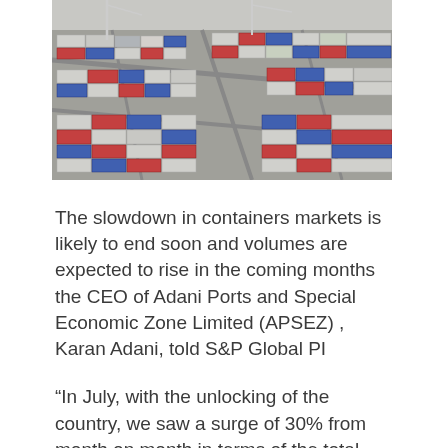[Figure (photo): Aerial view of a container port/terminal with rows of colorful shipping containers (red, blue, white) arranged in a large yard with roads/lanes between them.]
The slowdown in containers markets is likely to end soon and volumes are expected to rise in the coming months the CEO of Adani Ports and Special Economic Zone Limited (APSEZ) , Karan Adani, told S&P Global PI
“In July, with the unlocking of the country, we saw a surge of 30% from month on month in terms of the total volumes and when you see that year on year, we saw a 6% growth,” Adani